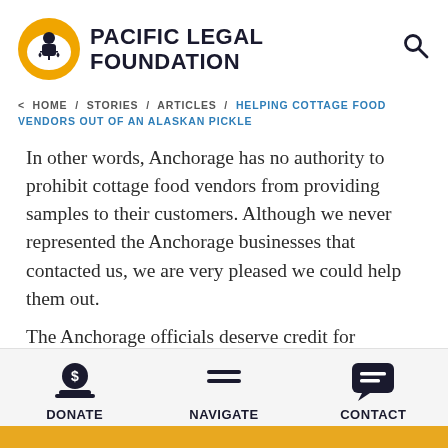[Figure (logo): Pacific Legal Foundation logo with circular yellow badge featuring a figure with scales of justice, next to bold text reading PACIFIC LEGAL FOUNDATION]
< HOME / STORIES / ARTICLES / HELPING COTTAGE FOOD VENDORS OUT OF AN ALASKAN PICKLE
In other words, Anchorage has no authority to prohibit cottage food vendors from providing samples to their customers. Although we never represented the Anchorage businesses that contacted us, we are very pleased we could help them out.
The Anchorage officials deserve credit for recognizing the limits on their authority. Too
[Figure (infographic): Bottom navigation bar with three items: DONATE (dollar sign icon), NAVIGATE (hamburger menu icon), CONTACT (chat bubble icon)]